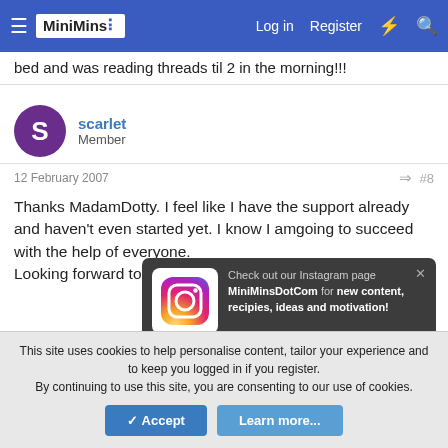MiniMins | Log in | Register
bed and was reading threads til 2 in the morning!!!
scarlet
Member
12 February 2007  #8
Thanks MadamDotty. I feel like I have the support already and haven't even started yet. I know I amgoing to succeed with the help of everyone.
Looking forward to
[Figure (screenshot): Instagram popup: Check out our Instagram page MiniMinsDotCom for new content, recipies, ideas and motivation!]
poohbearmufc
Longing 2 b a yummy mummy
This site uses cookies to help personalise content, tailor your experience and to keep you logged in if you register.
By continuing to use this site, you are consenting to our use of cookies.
Accept  Learn more...